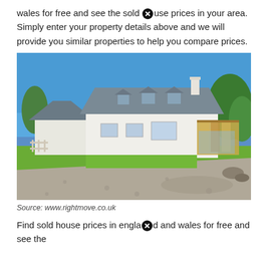wales for free and see the sold house prices in your area. Simply enter your property details above and we will provide you similar properties to help you compare prices.
[Figure (photo): Photograph of a large white detached house with grey roof and slate dormers, a gravel driveway in the foreground, green lawn, wooden extension with glass doors on the right, trees in background, blue sky.]
Source: www.rightmove.co.uk
Find sold house prices in england and wales for free and see the